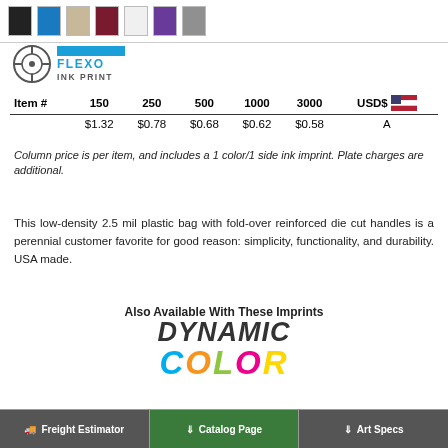[Figure (other): Row of colored shopping bag swatches (black, blue, tan, maroon, white, purple, gray)]
[Figure (logo): Flexo Ink Print logo with crosshair icon and blue bar label reading FLEXO INK PRINT]
| Item # | 150 | 250 | 500 | 1000 | 3000 | USD$ |  |
| --- | --- | --- | --- | --- | --- | --- | --- |
|  | $1.32 | $0.78 | $0.68 | $0.62 | $0.58 | A |  |
Column price is per item, and includes a 1 color/1 side ink imprint. Plate charges are additional.
This low-density 2.5 mil plastic bag with fold-over reinforced die cut handles is a perennial customer favorite for good reason: simplicity, functionality, and durability. USA made.
Also Available With These Imprints
[Figure (logo): Dynamic Color logo with large italic multicolor text: DYNAMIC in dark gray, COLOR in multicolor letters]
Freight Estimator | Catalog Page | Art Specs